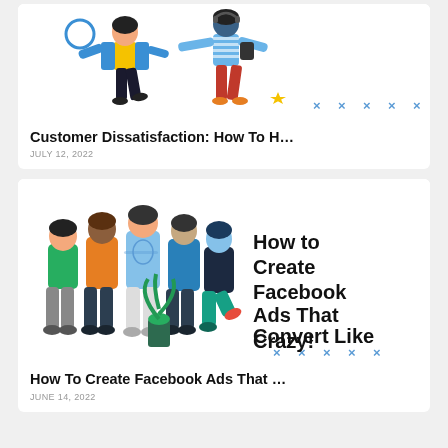[Figure (illustration): Illustration of two people walking/running, one in blue jacket and yellow shirt, one in blue striped shirt and red pants. Blue circle icon top left. Blue x marks bottom right.]
Customer Dissatisfaction: How To H…
JULY 12, 2022
[Figure (illustration): Illustration of a group of five people standing together with arms around each other, colorful clothing. A plant in foreground. Text overlay reads 'How to Create Facebook Ads That Convert Like Crazy!' Blue x marks bottom right.]
How To Create Facebook Ads That …
JUNE 14, 2022